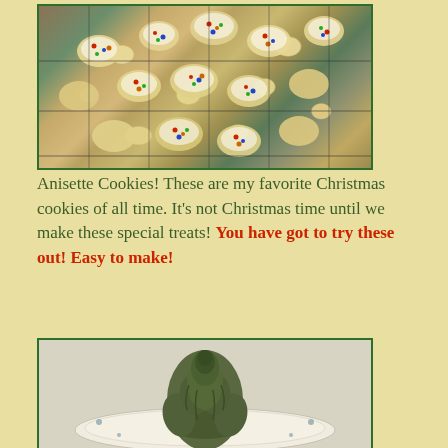[Figure (photo): Photo of anisette cookies with white glaze and colorful sprinkles on a cooling rack, viewed from above]
Anisette Cookies! These are my favorite Christmas cookies of all time. It's not Christmas time until we make these special treats! You have got to try these out! Easy to make!
[Figure (photo): Photo of a cooked artichoke on a decorative white plate with floral pattern]